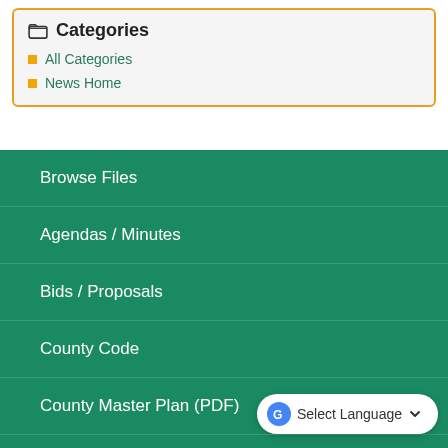Categories
All Categories
News Home
Browse Files
Agendas / Minutes
Bids / Proposals
County Code
County Master Plan (PDF)
Employment
Select Language